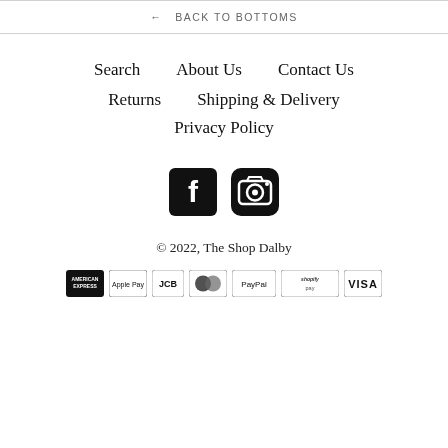← BACK TO BOTTOMS
Search   About Us   Contact Us
Returns   Shipping & Delivery
Privacy Policy
[Figure (illustration): Facebook and Instagram social media icons (filled black square with F, and camera icon)]
© 2022, The Shop Dalby
[Figure (illustration): Payment method icons: American Express, Apple Pay, JCB, Mastercard, PayPal, Shopify Pay, Visa]